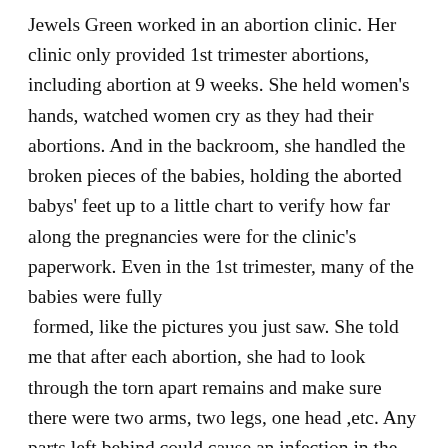Jewels Green worked in an abortion clinic. Her clinic only provided 1st trimester abortions, including abortion at 9 weeks. She held women's hands, watched women cry as they had their abortions. And in the backroom, she handled the broken pieces of the babies, holding the aborted babys' feet up to a little chart to verify how far along the pregnancies were for the clinic's paperwork. Even in the 1st trimester, many of the babies were fully formed, like the pictures you just saw. She told me that after each abortion, she had to look through the torn apart remains and make sure there were two arms, two legs, one head ,etc. Any parts left behind could cause an infection in the mother.  In a book by pro-choice author